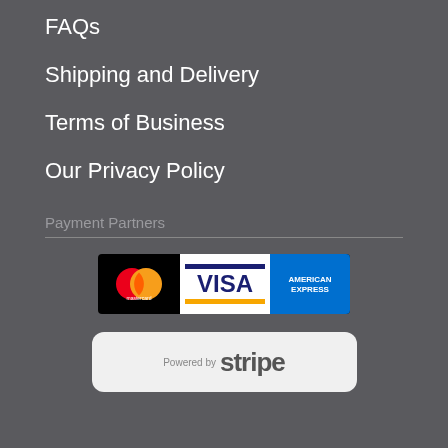FAQs
Shipping and Delivery
Terms of Business
Our Privacy Policy
Payment Partners
[Figure (logo): Payment partner logos: Mastercard, Visa, and American Express]
[Figure (logo): Powered by Stripe logo]